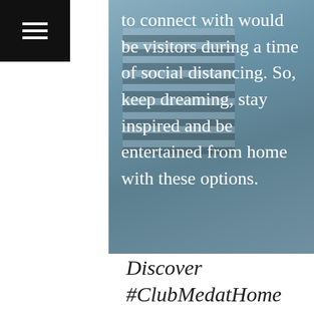[Figure (photo): A photo of a person wearing a striped shirt, overlaid with a blue-grey semi-transparent filter. Large white text is overlaid on the image reading: 'to connect with would be visitors during a time of social distancing. So, keep dreaming, stay inspired and be entertained from home with these options.']
Discover #ClubMedatHome